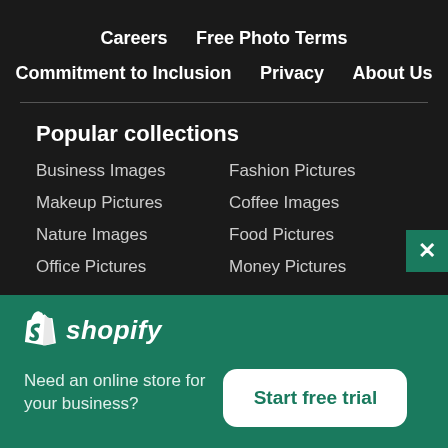Careers
Free Photo Terms
Commitment to Inclusion
Privacy
About Us
Popular collections
Business Images
Fashion Pictures
Makeup Pictures
Coffee Images
Nature Images
Food Pictures
Office Pictures
Money Pictures
[Figure (logo): Shopify logo with bag icon and italic text]
Need an online store for your business?
Start free trial